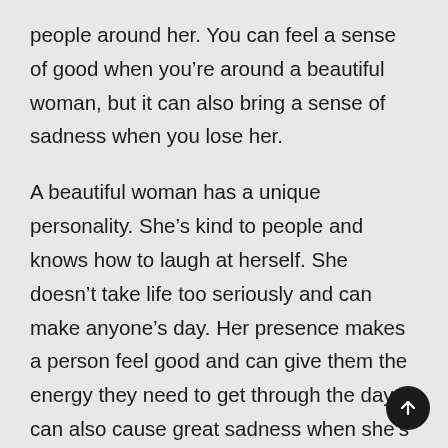people around her. You can feel a sense of good when you're around a beautiful woman, but it can also bring a sense of sadness when you lose her.
A beautiful woman has a unique personality. She's kind to people and knows how to laugh at herself. She doesn't take life too seriously and can make anyone's day. Her presence makes a person feel good and can give them the energy they need to get through the day. It can also cause great sadness when she's gone. This is a common reaction. This is what makes a beautiful woman so special. You can't miss the beautiful woman in your life!